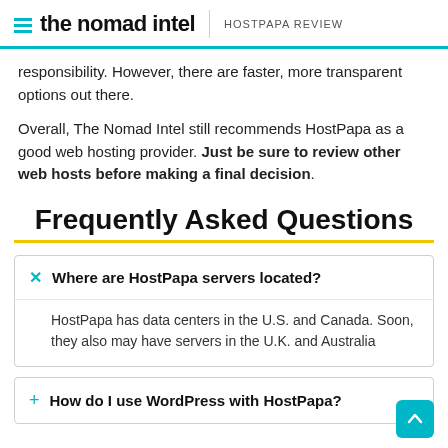the nomad intel | HOSTPAPA REVIEW
responsibility. However, there are faster, more transparent options out there.
Overall, The Nomad Intel still recommends HostPapa as a good web hosting provider. Just be sure to review other web hosts before making a final decision.
Frequently Asked Questions
Where are HostPapa servers located? HostPapa has data centers in the U.S. and Canada. Soon, they also may have servers in the U.K. and Australia
How do I use WordPress with HostPapa?